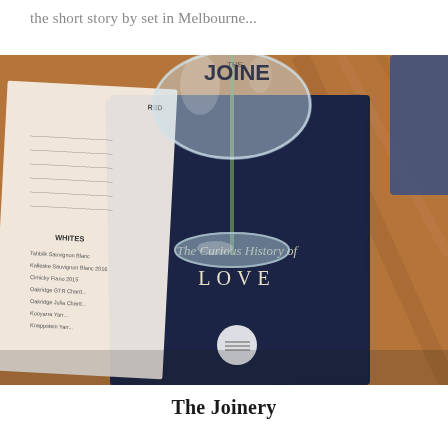the short story by set in Melbourne...
[Figure (photo): A photograph of a wine glass sitting on top of a dark navy book titled 'The Curious History of LOVE', placed beside a restaurant wine menu, on a wooden table at The Joinery.]
The Joinery